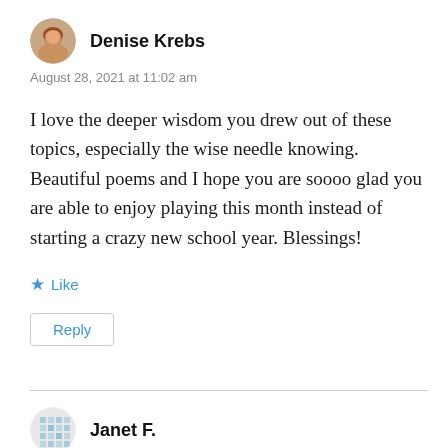[Figure (photo): Circular avatar photo of Denise Krebs, a woman with short reddish-brown hair]
Denise Krebs
August 28, 2021 at 11:02 am
I love the deeper wisdom you drew out of these topics, especially the wise needle knowing. Beautiful poems and I hope you are soooo glad you are able to enjoy playing this month instead of starting a crazy new school year. Blessings!
Like
Reply
[Figure (photo): Circular avatar icon for Janet F., appears to be a decorative pattern or graphic icon]
Janet F.